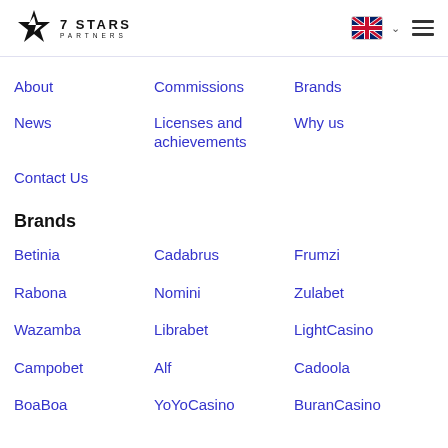7 STARS PARTNERS
About
Commissions
Brands
News
Licenses and achievements
Why us
Contact Us
Brands
Betinia
Cadabrus
Frumzi
Rabona
Nomini
Zulabet
Wazamba
Librabet
LightCasino
Campobet
Alf
Cadoola
BoaBoa
YoYoCasino
BuranCasino